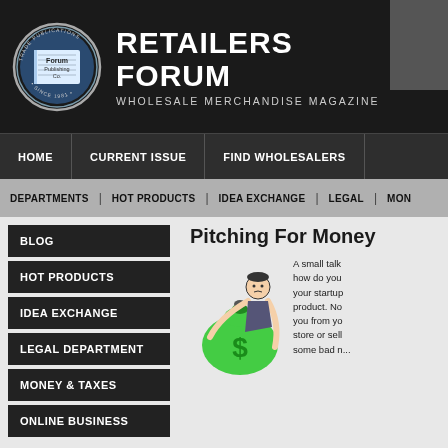[Figure (logo): Forum Publishing Co. Trade Publications circular logo with book graphic, blue and white]
RETAILERS FORUM
WHOLESALE MERCHANDISE MAGAZINE
HOME | CURRENT ISSUE | FIND WHOLESALERS
DEPARTMENTS | HOT PRODUCTS | IDEA EXCHANGE | LEGAL | MON...
BLOG
HOT PRODUCTS
IDEA EXCHANGE
LEGAL DEPARTMENT
MONEY & TAXES
ONLINE BUSINESS
Pitching For Money
[Figure (illustration): Cartoon illustration of a man hugging a large green money bag with a dollar sign]
A small talk how do you your startup product. No you from yo store or sell some bad n...